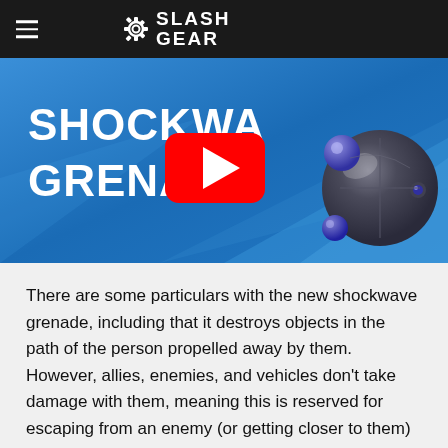SlashGear
[Figure (screenshot): YouTube video thumbnail for Shockwave Grenade featuring a metallic sphere grenade on a blue background with a YouTube play button overlay]
There are some particulars with the new shockwave grenade, including that it destroys objects in the path of the person propelled away by them. However, allies, enemies, and vehicles don't take damage with them, meaning this is reserved for escaping from an enemy (or getting closer to them) with the need to use it strategically, otherwise it is of little value.
The shockwave grenade has been noted to work well